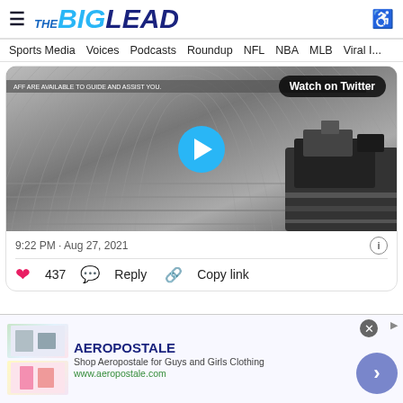THE BIG LEAD
Sports Media   Voices   Podcasts   Roundup   NFL   NBA   MLB   Viral I...
[Figure (screenshot): Embedded Twitter video player showing an empty stadium with a camera in the foreground. A 'Watch on Twitter' badge appears in the top right. A blue play button circle is centered on the image.]
9:22 PM · Aug 27, 2021
♥ 437   Reply   Copy link
[Figure (screenshot): Aeropostale advertisement banner: 'Shop Aeropostale for Guys and Girls Clothing' with URL www.aeropostale.com and clothing images on the left.]